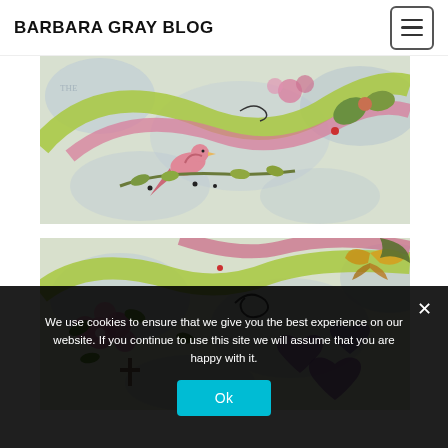BARBARA GRAY BLOG
[Figure (illustration): Close-up of colorful illustrated artwork featuring a pink bird perched on a branch with leaves, pink and green ribbon-like decorative elements, and botanical motifs on a light blue textured background]
[Figure (illustration): Close-up of colorful illustrated artwork featuring pink flowers, green leaves, purple heart-shaped flowers, butterfly, and decorative swirl elements on a light blue textured background]
We use cookies to ensure that we give you the best experience on our website. If you continue to use this site we will assume that you are happy with it.